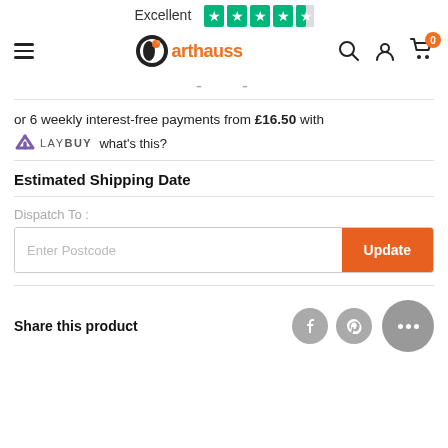Excellent ★★★★☆ arthauss
or 6 weekly interest-free payments from £16.50 with LAYBUY what's this?
Estimated Shipping Date
Dispatch To :
Enter Postcode  Update
Share this product